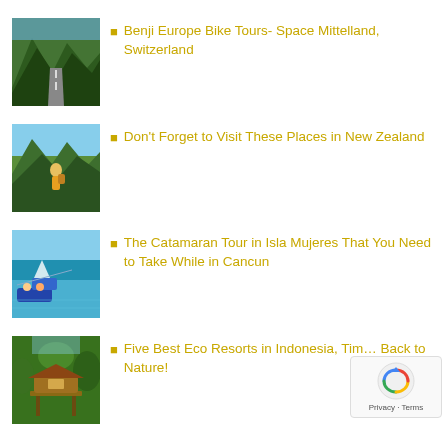Benji Europe Bike Tours- Space Mittelland, Switzerland
Don't Forget to Visit These Places in New Zealand
The Catamaran Tour in Isla Mujeres That You Need to Take While in Cancun
Five Best Eco Resorts in Indonesia, Tim... Back to Nature!